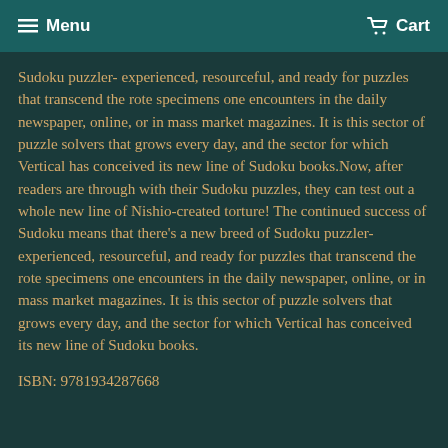Menu   Cart
Sudoku puzzler- experienced, resourceful, and ready for puzzles that transcend the rote specimens one encounters in the daily newspaper, online, or in mass market magazines. It is this sector of puzzle solvers that grows every day, and the sector for which Vertical has conceived its new line of Sudoku books.Now, after readers are through with their Sudoku puzzles, they can test out a whole new line of Nishio-created torture! The continued success of Sudoku means that there's a new breed of Sudoku puzzler- experienced, resourceful, and ready for puzzles that transcend the rote specimens one encounters in the daily newspaper, online, or in mass market magazines. It is this sector of puzzle solvers that grows every day, and the sector for which Vertical has conceived its new line of Sudoku books.
ISBN: 9781934287668